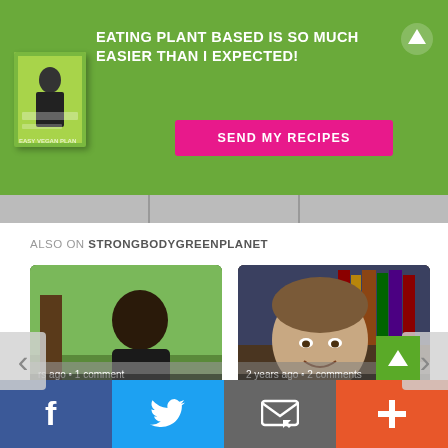[Figure (infographic): Green banner advertisement with book image, headline 'EATING PLANT BASED IS SO MUCH EASIER THAN I EXPECTED!' and pink 'SEND MY RECIPES' button]
ALSO ON STRONGBODYGREENPLANET
[Figure (screenshot): Card: From Hunter to Vegan Animal Rights ... — rs ago • 1 comment]
[Figure (screenshot): Card: Dr Neal Barnard Optimising Hormonal ... — 2 years ago • 2 comments]
[Figure (infographic): Social sharing bar with Facebook, Twitter, email, and plus buttons]